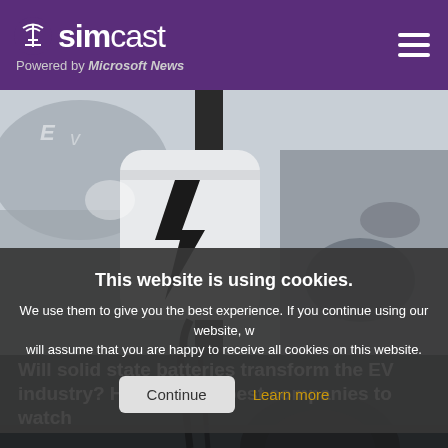simcast — Powered by Microsoft News
[Figure (photo): EV charging station with a white charger unit featuring a lightning bolt symbol, with a car in the background]
This website is using cookies. We use them to give you the best experience. If you continue using our website, we will assume that you are happy to receive all cookies on this website.
Continue | Learn more
[Figure (photo): Bottom portion of EV charging station area, darker view]
Will solid state batteries transform the EV industry? Here are the best companies to watch